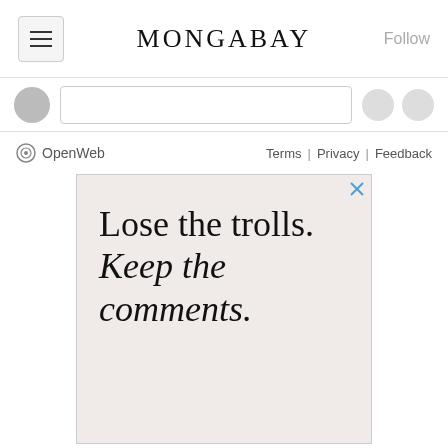MONGABAY
[Figure (screenshot): Web page screenshot showing Mongabay website header with hamburger menu button, site title MONGABAY, Follow button, avatar/comment bar, OpenWeb footer bar with Terms, Privacy, Feedback links, and an advertisement with text: Lose the trolls. Keep the comments.]
OpenWeb   Terms | Privacy | Feedback
[Figure (infographic): Advertisement with pinkish-beige background showing text: Lose the trolls. Keep the comments. (first two lines in regular serif, last two in italic serif)]